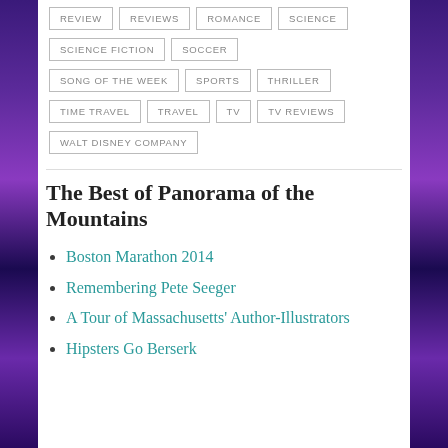REVIEW
REVIEWS
ROMANCE
SCIENCE
SCIENCE FICTION
SOCCER
SONG OF THE WEEK
SPORTS
THRILLER
TIME TRAVEL
TRAVEL
TV
TV REVIEWS
WALT DISNEY COMPANY
The Best of Panorama of the Mountains
Boston Marathon 2014
Remembering Pete Seeger
A Tour of Massachusetts' Author-Illustrators
Hipsters Go Berserk